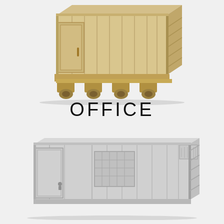[Figure (illustration): 3D illustration of a tan/beige portable storage container unit with ribbed panels, a hinged door on the front, and forklift pockets at the base, viewed from a front-left perspective.]
OFFICE
[Figure (illustration): 3D illustration of a silver/grey portable office container unit with ribbed metal panels, a door on the left side, a window vent in the center, and an air conditioning unit on the upper right, viewed from a front-left perspective.]